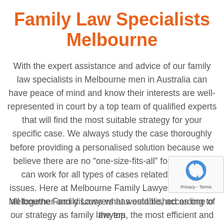Family Law Specialists Melbourne
With the expert assistance and advice of our family law specialists in Melbourne men in Australia can have peace of mind and know their interests are well-represented in court by a top team of qualified experts that will find the most suitable strategy for your specific case. We always study the case thoroughly before providing a personalised solution because we believe there are no “one-size-fits-all” formulas that can work for all types of cases related to family issues. Here at Melbourne Family Lawyers we will sit all together and discuss what would be, according to our strategy as family lawyers, the most efficient and reliable way to give your case a definite soluti…
Melbourne Family Lawyers has established as one of the top